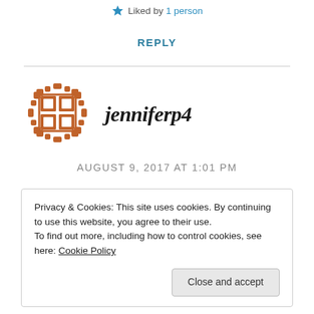★ Liked by 1 person
REPLY
[Figure (illustration): Orange avatar icon with decorative grid/mosaic pattern for user jenniferp4]
jenniferp4
AUGUST 9, 2017 AT 1:01 PM
Privacy & Cookies: This site uses cookies. By continuing to use this website, you agree to their use.
To find out more, including how to control cookies, see here: Cookie Policy
Close and accept